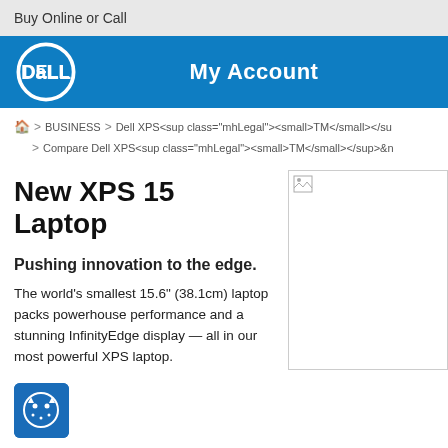Buy Online or Call
[Figure (logo): Dell logo and My Account blue header bar]
🏠 > BUSINESS > Dell XPS<sup class="mhLegal"><small>TM</small></sup> > Compare Dell XPS<sup class="mhLegal"><small>TM</small></sup>&n
New XPS 15 Laptop
Pushing innovation to the edge.
The world's smallest 15.6" (38.1cm) laptop packs powerhouse performance and a stunning InfinityEdge display — all in our most powerful XPS laptop.
[Figure (photo): Product image placeholder for XPS 15 laptop]
[Figure (logo): Cookie/tracking consent icon - blue square with cat/cookie icon]